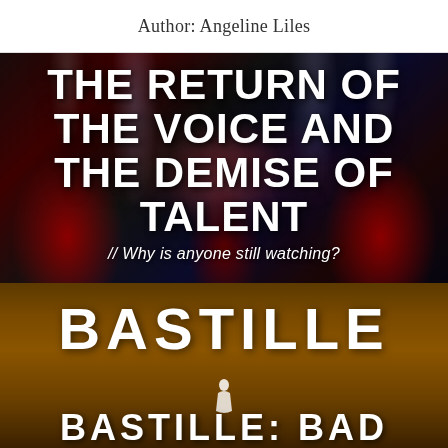Author: Angeline Liles
[Figure (photo): TV show 'The Voice' promotional image showing judges in red chairs on a dramatic stage with neon lights. White bold text overlaid reads 'THE RETURN OF THE VOICE AND THE DEMISE OF TALENT' with subtitle '// Why is anyone still watching?']
[Figure (photo): Bastille band promotional image with dark golden/brown background showing the word 'BASTILLE' in large white letters at the top and 'BASTILLE: BAD' at the bottom with a performer silhouette in the middle]